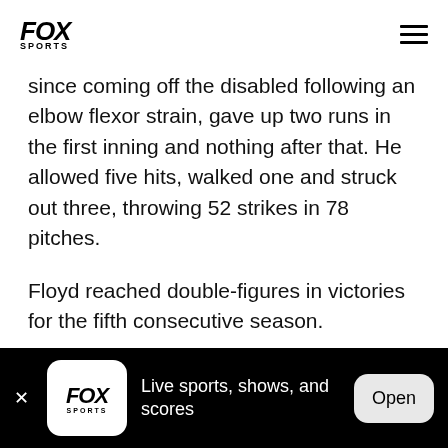FOX SPORTS
since coming off the disabled following an elbow flexor strain, gave up two runs in the first inning and nothing after that. He allowed five hits, walked one and struck out three, throwing 52 strikes in 78 pitches.
Floyd reached double-figures in victories for the fifth consecutive season.
Kansas City got off to a fast start when Billy Butler hit
FOX SPORTS – Live sports, shows, and scores – Open